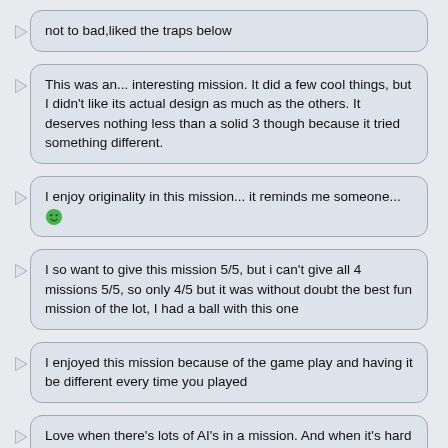not to bad,liked the traps below
This was an... interesting mission. It did a few cool things, but I didn't like its actual design as much as the others. It deserves nothing less than a solid 3 though because it tried something different.
I enjoy originality in this mission... it reminds me someone... 🙂
I so want to give this mission 5/5, but i can't give all 4 missions 5/5, so only 4/5 but it was without doubt the best fun mission of the lot, I had a ball with this one
I enjoyed this mission because of the game play and having it be different every time you played
Love when there's lots of AI's in a mission. And when it's hard to get to knock them out.
But I only got to try the assasins. Tried to start over around 10 times. And I died everytime I opened the box. And what is all that about the script. Why don't let FMSel do the job??? If it wasn't for these bugs, I